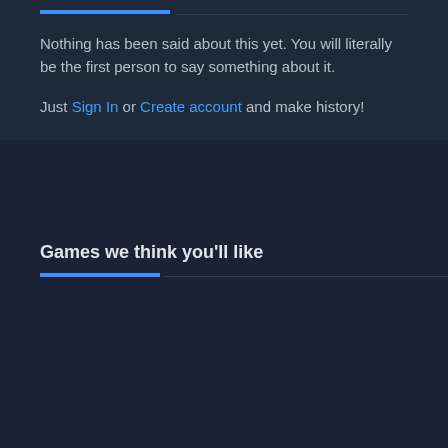Nothing has been said about this yet. You will literally be the first person to say something about it.
Just Sign In or Create account and make history!
Games we think you'll like
[Figure (photo): The Outer Worlds game promotional image showing a sci-fi landscape with alien creatures, a spacefarer character, a large planet in the sky, and a -72% discount badge in the top right corner.]